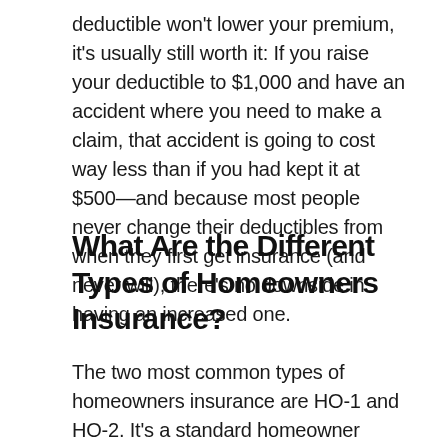deductible won't lower your premium, it's usually still worth it: If you raise your deductible to $1,000 and have an accident where you need to make a claim, that accident is going to cost way less than if you had kept it at $500—and because most people never change their deductibles from when they first get insurance (and never will), there's no downside in having an increased one.
What Are the Different Types of Homeowners Insurance?
The two most common types of homeowners insurance are HO-1 and HO-2. It's a standard homeowner policy that covers homes, garages, cars,